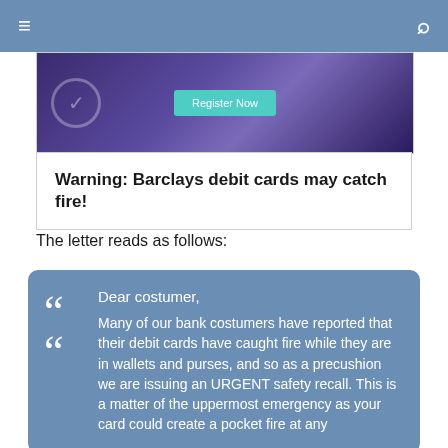≡  Q
[Figure (screenshot): Purple/dark blue banner with a 'Register Now' teal button in the center and a circular check icon on the left]
Warning: Barclays debit cards may catch fire!
The letter reads as follows:
Dear costumer,

Many of our bank costumers have reported that their debit cards have caught fire while they are in wallets and purses, and so as a precushion we are issuing an URGENT safety recall. This is a matter of the uppermost emergency as your card could create a pocket fire at any